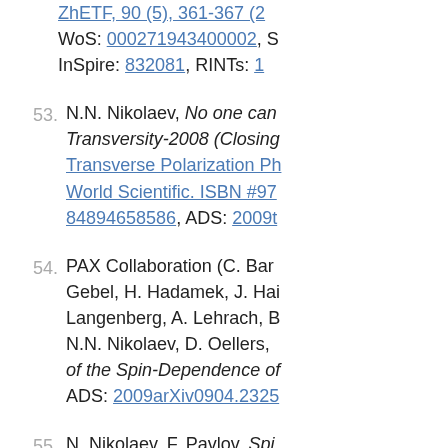ZhETF, 90 (5), 361-367 (2... WoS: 000271943400002, S... InSpire: 832081, RINTs: 1...
53. N.N. Nikolaev, No one can... Transversity-2008 (Closing... Transverse Polarization Ph... World Scientific. ISBN #97... 84894658586, ADS: 2009t...
54. PAX Collaboration (C. Bar... Gebel, H. Hadamek, J. Hai... Langenberg, A. Lehrach, B... N.N. Nikolaev, D. Oellers, ...of the Spin-Dependence of... ADS: 2009arXiv0904.2325...
55. N. Nikolaev, F. Pavlov, Spi... AD to FAIR, AIP Conf. Pro... s2.0-44249107920, ADS: 2...